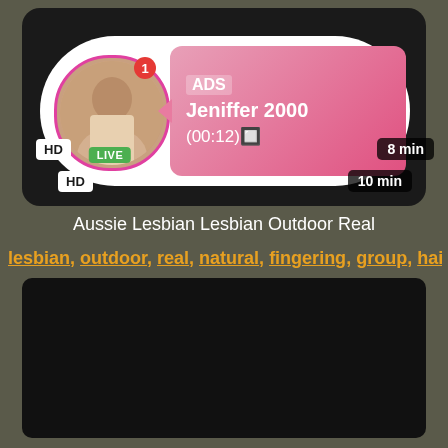[Figure (screenshot): Ad banner with profile photo, LIVE badge, notification dot, and pink gradient box showing 'ADS Jeniffer 2000 (00:12)' text with HD badge and 10 min duration]
Aussie Lesbian Lesbian Outdoor Real
lesbian, outdoor, real, natural, fingering, group, hairy, oral...
[Figure (screenshot): Dark/black video thumbnail with HD badge and 8 min duration label]